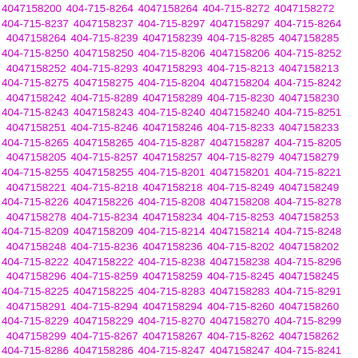4047158200 404-715-8264 4047158264 404-715-8272 4047158272 404-715-8237 4047158237 404-715-8297 4047158297 404-715-8264 4047158264 404-715-8239 4047158239 404-715-8285 4047158285 404-715-8250 4047158250 404-715-8206 4047158206 404-715-8252 4047158252 404-715-8293 4047158293 404-715-8213 4047158213 404-715-8275 4047158275 404-715-8204 4047158204 404-715-8242 4047158242 404-715-8289 4047158289 404-715-8230 4047158230 404-715-8243 4047158243 404-715-8240 4047158240 404-715-8251 4047158251 404-715-8246 4047158246 404-715-8233 4047158233 404-715-8265 4047158265 404-715-8287 4047158287 404-715-8205 4047158205 404-715-8257 4047158257 404-715-8279 4047158279 404-715-8255 4047158255 404-715-8201 4047158201 404-715-8221 4047158221 404-715-8218 4047158218 404-715-8249 4047158249 404-715-8226 4047158226 404-715-8208 4047158208 404-715-8278 4047158278 404-715-8234 4047158234 404-715-8253 4047158253 404-715-8209 4047158209 404-715-8214 4047158214 404-715-8248 4047158248 404-715-8236 4047158236 404-715-8202 4047158202 404-715-8222 4047158222 404-715-8238 4047158238 404-715-8296 4047158296 404-715-8259 4047158259 404-715-8245 4047158245 404-715-8225 4047158225 404-715-8283 4047158283 404-715-8291 4047158291 404-715-8294 4047158294 404-715-8260 4047158260 404-715-8229 4047158229 404-715-8270 4047158270 404-715-8299 4047158299 404-715-8267 4047158267 404-715-8262 4047158262 404-715-8286 4047158286 404-715-8247 4047158247 404-715-8241 4047158241 404-715-8273 4047158273 404-715-8261 4047158261 404-715-8229 4047158229 404-715-8256 4047158256